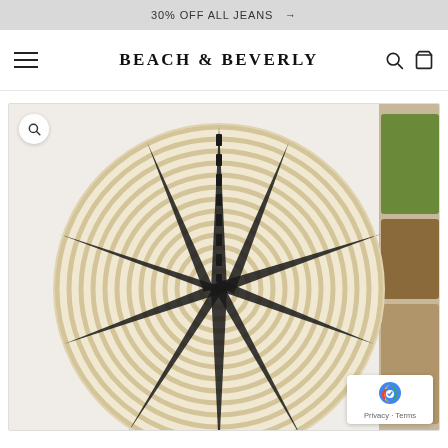30% OFF ALL JEANS →
BEACH & BEVERLY
[Figure (photo): A round woven basket/trivet with a cream/natural base and black geometric stripe pattern radiating from center, photographed from above on white background. A partial second image with food items is visible on the right edge.]